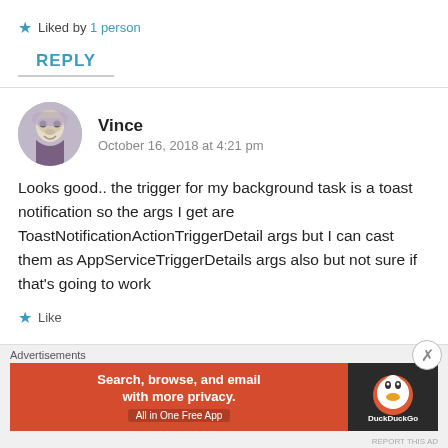★ Liked by 1 person
REPLY
Vince
October 16, 2018 at 4:21 pm
Looks good.. the trigger for my background task is a toast notification so the args I get are ToastNotificationActionTriggerDetail args but I can cast them as AppServiceTriggerDetails args also but not sure if that's going to work
★ Like
Advertisements
[Figure (infographic): DuckDuckGo advertisement banner: orange left panel with text 'Search, browse, and email with more privacy. All in One Free App', dark right panel with DuckDuckGo duck logo]